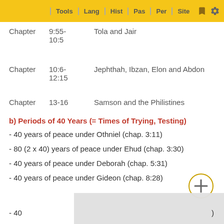Tools | Lang | Hist | Pas | Per | Site
|  | Reference | Title |
| --- | --- | --- |
| Chapter | 9:55-10:5 | Tola and Jair |
| Chapter | 10:6-12:15 | Jephthah, Ibzan, Elon and Abdon |
| Chapter | 13-16 | Samson and the Philistines |
b) Periods of 40 Years (= Times of Trying, Testing)
- 40 years of peace under Othniel (chap. 3:11)
- 80 (2 x 40) years of peace under Ehud (chap. 3:30)
- 40 years of peace under Deborah (chap. 5:31)
- 40 years of peace under Gideon (chap. 8:28)
- 40 [partially obscured] )